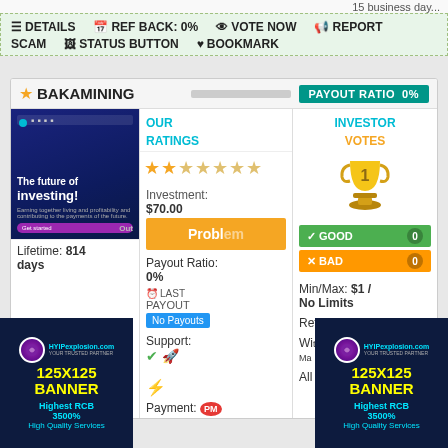15 business day...
DETAILS  REF BACK: 0%  VOTE NOW  REPORT SCAM  STATUS BUTTON  BOOKMARK
BAKAMINING — PAYOUT RATIO 0%
[Figure (screenshot): Website screenshot showing 'The future of investing!' on dark blue background]
OUR RATINGS
★★☆☆☆☆☆ (2 stars out of 7)
INVESTOR VOTES
GOOD 0 / BAD 0
Lifetime: 814 days
Investment: $70.00
Min/Max: $1 / No Limits
Payout Ratio: 0%
LAST PAYOUT — No Payouts
Referral: 5%
Support: [check] [rocket] [link]
Withdraw: Manual
Payment: PM
All
[Figure (infographic): HYIPexplosion.com YOUR TRUSTED PARTNER 125X125 BANNER Highest RCB 3500% High Quality Services banner (left)]
[Figure (infographic): HYIPexplosion.com YOUR TRUSTED PARTNER 125X125 BANNER Highest RCB 3500% High Quality Services banner (right)]